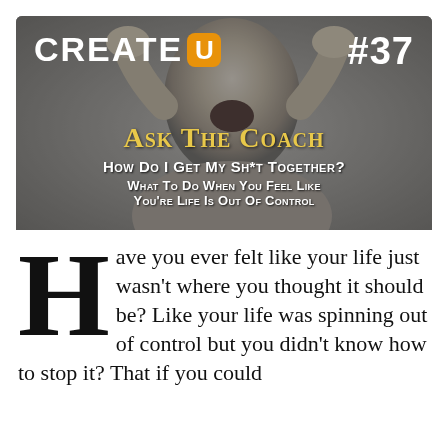[Figure (infographic): CreateU podcast episode #37 banner image showing a person with hands on head screaming, with logo, episode number, and episode title text overlay]
Have you ever felt like your life just wasn't where you thought it should be? Like your life was spinning out of control but you didn't know how to stop it? That if you could